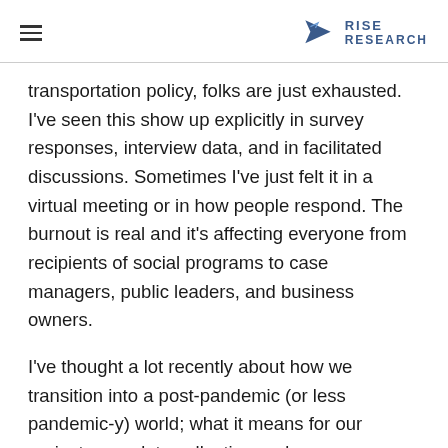RISE RESEARCH
transportation policy, folks are just exhausted. I've seen this show up explicitly in survey responses, interview data, and in facilitated discussions. Sometimes I've just felt it in a virtual meeting or in how people respond. The burnout is real and it's affecting everyone from recipients of social programs to case managers, public leaders, and business owners.
I've thought a lot recently about how we transition into a post-pandemic (or less pandemic-y) world; what it means for our projects, our data collection and